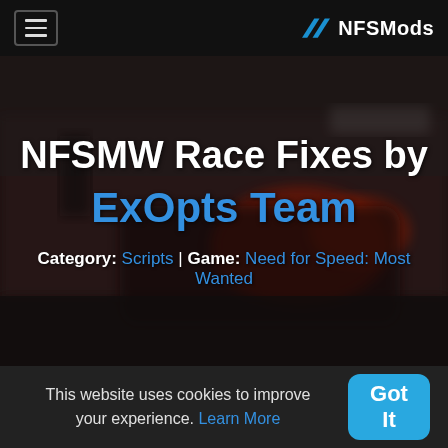NFSMods
[Figure (screenshot): Blurred screenshot of a racing game (Need for Speed: Most Wanted) showing a sports car with red brake lights in a dark urban scene]
NFSMW Race Fixes by ExOpts Team
Category: Scripts | Game: Need for Speed: Most Wanted
This website uses cookies to improve your experience. Learn More